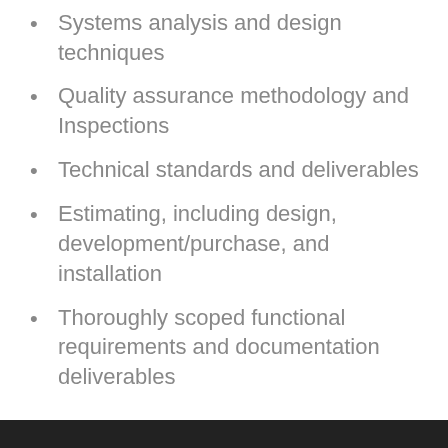Systems analysis and design techniques
Quality assurance methodology and Inspections
Technical standards and deliverables
Estimating, including design, development/purchase, and installation
Thoroughly scoped functional requirements and documentation deliverables